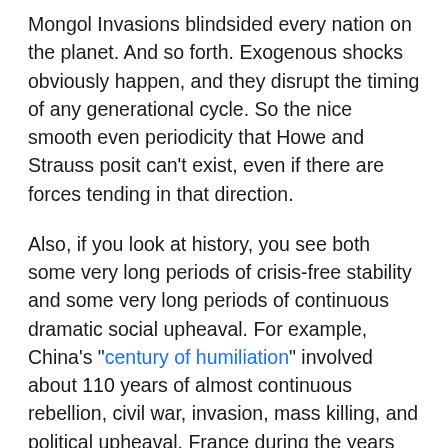Mongol Invasions blindsided every nation on the planet. And so forth. Exogenous shocks obviously happen, and they disrupt the timing of any generational cycle. So the nice smooth even periodicity that Howe and Strauss posit can't exist, even if there are forces tending in that direction.
Also, if you look at history, you see both some very long periods of crisis-free stability and some very long periods of continuous dramatic social upheaval. For example, China's "century of humiliation" involved about 110 years of almost continuous rebellion, civil war, invasion, mass killing, and political upheaval. France during the years from 1789 to 1945 experienced two empires, three republics, a large number of revolutions and counter-revolutions, many foreign invasions, and millions of violent deaths.
On the flip side of the coin, Britain from the Glorious Revolution of 1689 to the start of World War 1 experienced over two centuries of stability with no real regime change or total war (the Napoleonic Wars being the closest thing, but ultimately not even requiring mass conscription). China during the Ming Dynasty and Japan during the Tokugawa